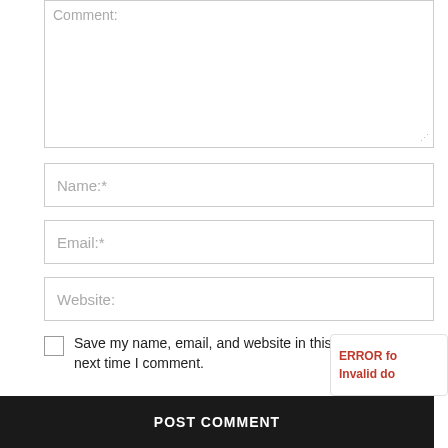Comment:
Name:*
Email:*
Website:
Save my name, email, and website in this browser for the next time I comment.
POST COMMENT
ERROR fo
Invalid do